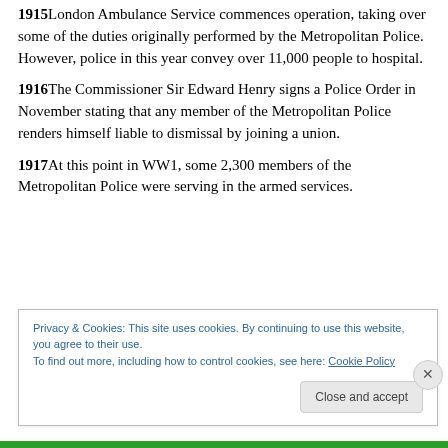1915London Ambulance Service commences operation, taking over some of the duties originally performed by the Metropolitan Police. However, police in this year convey over 11,000 people to hospital.
1916The Commissioner Sir Edward Henry signs a Police Order in November stating that any member of the Metropolitan Police renders himself liable to dismissal by joining a union.
1917At this point in WW1, some 2,300 members of the Metropolitan Police were serving in the armed services.
Privacy & Cookies: This site uses cookies. By continuing to use this website, you agree to their use. To find out more, including how to control cookies, see here: Cookie Policy